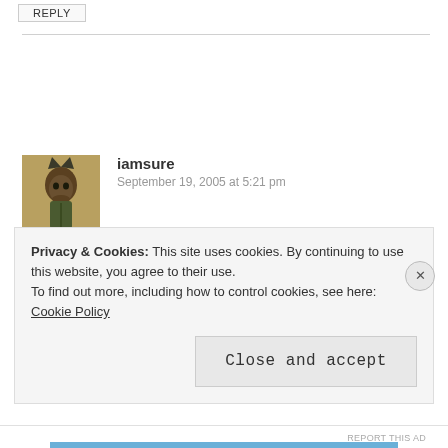REPLY
iamsure
September 19, 2005 at 5:21 pm
“So, who else out there wants to help me prove them wrong?”
I’m doing my best already, E. Glad to see I’m not the only one.
Privacy & Cookies: This site uses cookies. By continuing to use this website, you agree to their use.
To find out more, including how to control cookies, see here: Cookie Policy
Close and accept